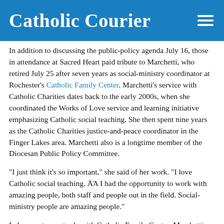Catholic Courier
In addition to discussing the public-policy agenda July 16, those in attendance at Sacred Heart paid tribute to Marchetti, who retired July 25 after seven years as social-ministry coordinator at Rochester's Catholic Family Center. Marchetti's service with Catholic Charities dates back to the early 2000s, when she coordinated the Works of Love service and learning initiative emphasizing Catholic social teaching. She then spent nine years as the Catholic Charities justice-and-peace coordinator in the Finger Lakes area. Marchetti also is a longtime member of the Diocesan Public Policy Committee.
“I just think it’s so important,” she said of her work. “I love Catholic social teaching. Ä¶ I had the opportunity to work with amazing people, both staff and people out in the field. Social-ministry people are amazing people.”
In her most recent role with Catholic Family Center, Marchetti worked alongside Marvin Mich, who had served as